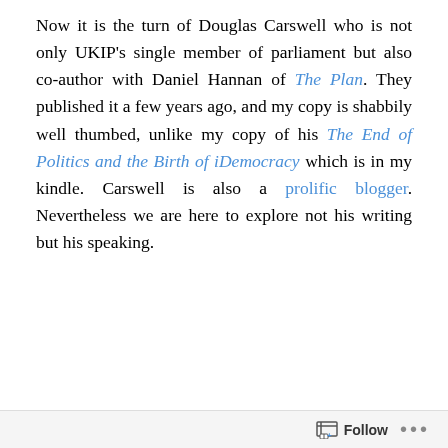Now it is the turn of Douglas Carswell who is not only UKIP's single member of parliament but also co-author with Daniel Hannan of The Plan. They published it a few years ago, and my copy is shabbily well thumbed, unlike my copy of his The End of Politics and the Birth of iDemocracy which is in my kindle. Carswell is also a prolific blogger. Nevertheless we are here to explore not his writing but his speaking.
[Figure (screenshot): YouTube video thumbnail showing 'An OPTIMISTIC case against the E...' with text 'BRITAIN AND THE EU' and 'EXIT', 'TIME TO LEAVE?' overlaid on a blue EU-themed background with the YouTube play button]
Follow ...